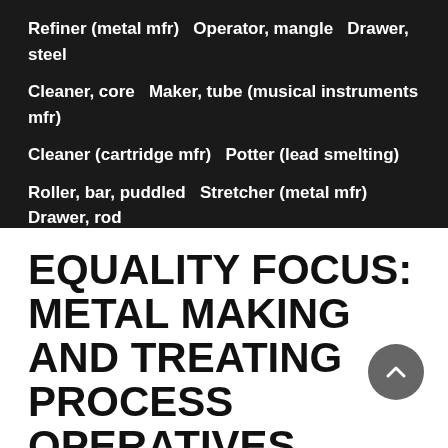Refiner (metal mfr)   Operator, mangle   Drawer, steel
Cleaner, core   Maker, tube (musical instruments mfr)
Cleaner (cartridge mfr)   Potter (lead smelting)
Roller, bar, puddled   Stretcher (metal mfr)   Drawer, rod
EQUALITY FOCUS: METAL MAKING AND TREATING PROCESS OPERATIVES
Breaking down the official government big